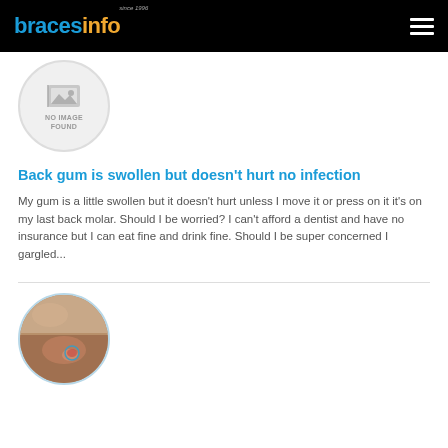bracesinfo — since 1996
[Figure (photo): Circular thumbnail placeholder with 'NO IMAGE FOUND' text and image icon]
Back gum is swollen but doesn't hurt no infection
My gum is a little swollen but it doesn't hurt unless I move it or press on it it's on my last back molar. Should I be worried? I can't afford a dentist and have no insurance but I can eat fine and drink fine. Should I be super concerned I gargled...
[Figure (photo): Circular thumbnail showing a close-up photo of skin with a small circled lesion or bump, appearing reddish/inflamed]